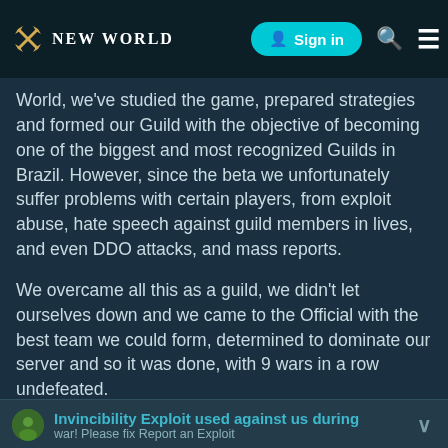NEW WORLD | Sign in
World, we've studied the game, prepared strategies and formed our Guild with the objective of becoming one of the biggest and most recognized Guilds in Brazil. However, since the beta we unfortunately suffer problems with certain players, from exploit abuse, hate speech against guild members in lives, and even DDO attacks, and mass reports.
We overcame all this as a guild, we didn't let ourselves down and we came to the Official with the best team we could form, determined to dominate our server and so it was done, with 9 wars in a row undefeated.
3 days ago an Exploit was revealed where Invicibility, another that they have infinite ability (with ax), and another that during the war the characters do not take cannons because of the lag caused.
Invincibility Exploit used against us during war! Please fix Report an Exploit